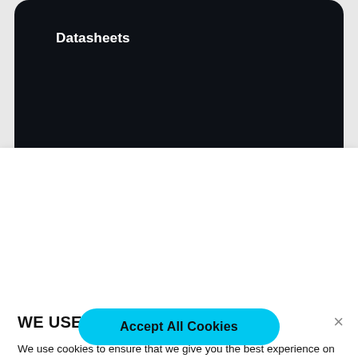[Figure (screenshot): Dark navy/black rounded header area of a website showing the label 'Datasheets']
WE USE COOKIES
We use cookies to ensure that we give you the best experience on this website. If you continue without changing your settings, we'll assume that you are happy to receive all on the NICE website. However, if you would like, you can change your cookie settings at any time. To find out more about how we use this information, see our Privacy Policy.